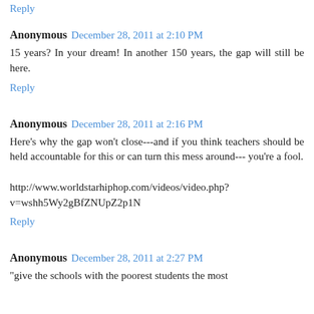Reply
Anonymous  December 28, 2011 at 2:10 PM
15 years? In your dream! In another 150 years, the gap will still be here.
Reply
Anonymous  December 28, 2011 at 2:16 PM
Here's why the gap won't close---and if you think teachers should be held accountable for this or can turn this mess around--- you're a fool.

http://www.worldstarhiphop.com/videos/video.php?v=wshh5Wy2gBfZNUpZ2p1N
Reply
Anonymous  December 28, 2011 at 2:27 PM
"give the schools with the poorest students the most